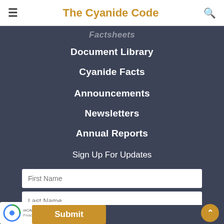The Cyanide Code
Factsheets
Document Library
Cyanide Facts
Announcements
Newsletters
Annual Reports
Sign Up For Updates
First Name
Last Name
Email Address
Submit